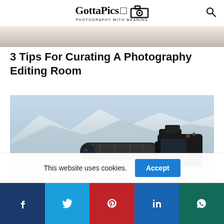GottaPics | PHOTOGRAPHY WITH MEANING
[Figure (photo): Cropped top portion of a photo showing a person at a desk, editing photos — only the bottom strip is visible]
3 Tips For Curating A Photography Editing Room
[Figure (photo): DSLR camera with a large telephoto lens mounted on a tripod, shot from behind-right angle with mountain/lake scenery blurred in the background]
This website uses cookies.
Accept